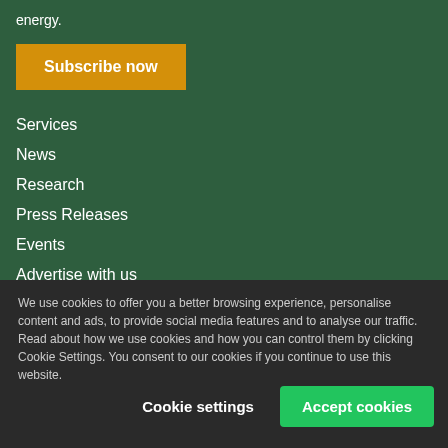energy.
Subscribe now
Services
News
Research
Press Releases
Events
Advertise with us
We use cookies to offer you a better browsing experience, personalise content and ads, to provide social media features and to analyse our traffic. Read about how we use cookies and how you can control them by clicking Cookie Settings. You consent to our cookies if you continue to use this website.
Cookie settings
Accept cookies